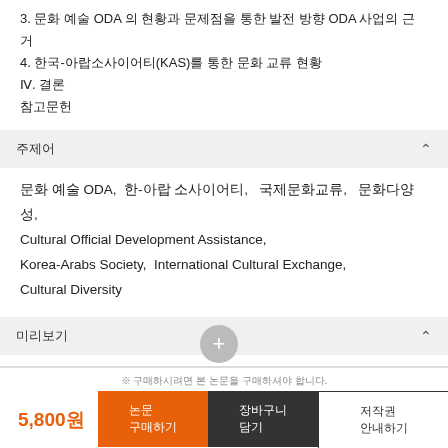3. 문화 예술 ODA 의 현황과 문제점을 통한 발전 방향 ODA 사업의 근거
4. 한국-아랍소사이어티(KAS)를 통한 문화 교류 현황
Ⅳ. 결론
참고문헌
주제어
문화 예술 ODA,  한-아랍 소사이어티,  국제문화교류,  문화다양성, Cultural Official Development Assistance, Korea-Arabs Society,  International Cultural Exchange, Cultural Diversity
미리보기
저자권한
※ 구매하시려면 본 논문을 구매하셔야 합니다.
5,800원
논문 구매하기  장바구니담기  저작권 안내하기  ↑